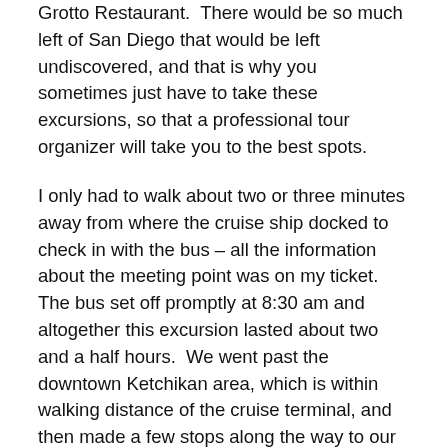Grotto Restaurant.  There would be so much left of San Diego that would be left undiscovered, and that is why you sometimes just have to take these excursions, so that a professional tour organizer will take you to the best spots.
I only had to walk about two or three minutes away from where the cruise ship docked to check in with the bus – all the information about the meeting point was on my ticket.  The bus set off promptly at 8:30 am and altogether this excursion lasted about two and a half hours.  We went past the downtown Ketchikan area, which is within walking distance of the cruise terminal, and then made a few stops along the way to our ultimate destination – Saxman Native Village – which is where all the totem poles are.  The two stops we made along the way were so we could take pictures of a waterfall, and a lake.
Here are some pictures of the totem poles along the...